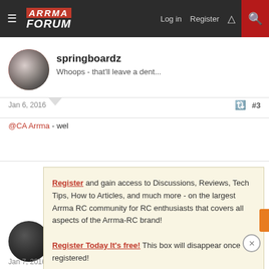ARRMA FORUM — Log in   Register
springboardz
Whoops - that'll leave a dent...
Jan 6, 2016   #3
@CA Arrma - wel
[Figure (screenshot): Registration popup overlay on forum page with light yellow background. Text: 'Register and gain access to Discussions, Reviews, Tech Tips, How to Articles, and much more - on the largest Arrma RC community for RC enthusiasts that covers all aspects of the Arrma-RC brand! Register Today It's free! This box will disappear once registered!']
Eek-the-
Well-Know
Jan 7, 2016   #4